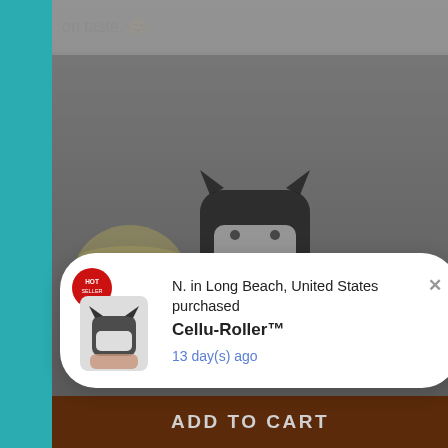on taste. 🙂
[Figure (photo): A hand holding a black cat-shaped AirPod case with white markings, displayed against a light background with a coffee cup visible. Image is dimmed/overlaid.]
N. in Long Beach, United States purchased
Cellu-Roller™
13 day(s) ago
ADD TO CART